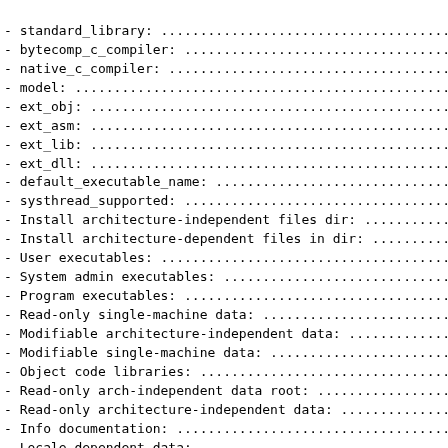- standard_library: ...............................................
- bytecomp_c_compiler: .............................................
- native_c_compiler: ...............................................
- model: ..........................................................
- ext_obj: ........................................................
- ext_asm: ........................................................
- ext_lib: ........................................................
- ext_dll: ........................................................
- default_executable_name: .........................................
- systhread_supported: .............................................
- Install architecture-independent files dir: .............
- Install architecture-dependent files in dir: ............
- User executables: ................................................
- System admin executables: ........................................
- Program executables: .............................................
- Read-only single-machine data: ...................................
- Modifiable architecture-independent data: ................
- Modifiable single-machine data: ..................................
- Object code libraries: ...........................................
- Read-only arch-independent data root: ............................
- Read-only architecture-independent data: .................
- Info documentation: ..............................................
- Locale-dependent data: ...........................................
- Man documentation: ...............................................
- Documentation root: ..............................................
- HTML documentation: ..............................................
- DVI documentation: ...............................................
- PDF documentation: ...............................................
- PS documentation: ................................................
- findlib_version: .................................................
- is_....